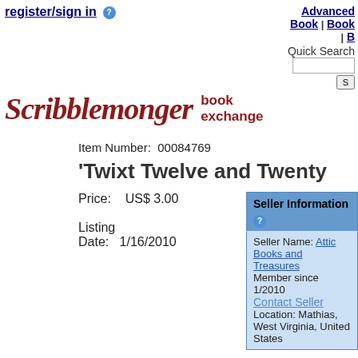register/sign in  [?]   Advanced Book | Book | B   Quick Search
[Figure (logo): Scribblemonger book exchange logo in dark red cursive script]
Item Number:  00084769
'Twixt Twelve and Twenty
Price:    US$ 3.00
Listing Date:  1/16/2010
Seller Information
Seller Name: Attic Books and Treasures
Member since 1/2010
Contact Seller
Location: Mathias, West Virginia, United States